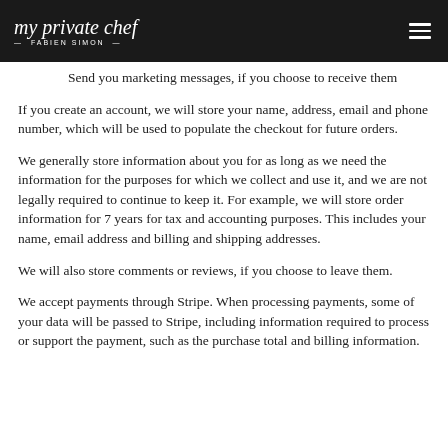my private chef — Fabien Simon
Send you marketing messages, if you choose to receive them
If you create an account, we will store your name, address, email and phone number, which will be used to populate the checkout for future orders.
We generally store information about you for as long as we need the information for the purposes for which we collect and use it, and we are not legally required to continue to keep it. For example, we will store order information for 7 years for tax and accounting purposes. This includes your name, email address and billing and shipping addresses.
We will also store comments or reviews, if you choose to leave them.
We accept payments through Stripe. When processing payments, some of your data will be passed to Stripe, including information required to process or support the payment, such as the purchase total and billing information.